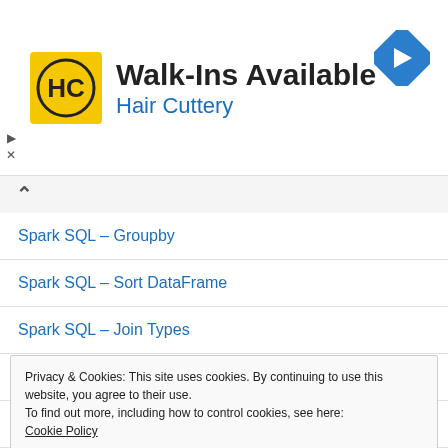[Figure (screenshot): Advertisement banner for Hair Cuttery showing logo, 'Walk-Ins Available' text, subtitle 'Hair Cuttery', and a blue navigation arrow icon on the right.]
Spark SQL – Groupby
Spark SQL – Sort DataFrame
Spark SQL – Join Types
Spark SQL – Union and UnionAll
Spark SQL – map() vs mapPartitions()
Privacy & Cookies: This site uses cookies. By continuing to use this website, you agree to their use.
To find out more, including how to control cookies, see here:
Cookie Policy